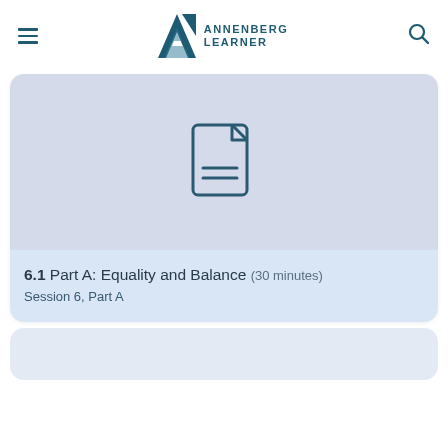Annenberg Learner
[Figure (screenshot): Card with document icon placeholder image area, light blue-gray background]
6.1 Part A: Equality and Balance (30 minutes)
Session 6, Part A